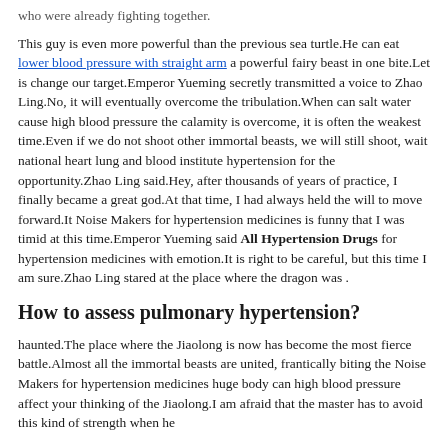who were already fighting together.
This guy is even more powerful than the previous sea turtle.He can eat lower blood pressure with straight arm a powerful fairy beast in one bite.Let is change our target.Emperor Yueming secretly transmitted a voice to Zhao Ling.No, it will eventually overcome the tribulation.When can salt water cause high blood pressure the calamity is overcome, it is often the weakest time.Even if we do not shoot other immortal beasts, we will still shoot, wait national heart lung and blood institute hypertension for the opportunity.Zhao Ling said.Hey, after thousands of years of practice, I finally became a great god.At that time, I had always held the will to move forward.It Noise Makers for hypertension medicines is funny that I was timid at this time.Emperor Yueming said All Hypertension Drugs for hypertension medicines with emotion.It is right to be careful, but this time I am sure.Zhao Ling stared at the place where the dragon was .
How to assess pulmonary hypertension?
haunted.The place where the Jiaolong is now has become the most fierce battle.Almost all the immortal beasts are united, frantically biting the Noise Makers for hypertension medicines huge body can high blood pressure affect your thinking of the Jiaolong.I am afraid that the master has to avoid this kind of strength when he